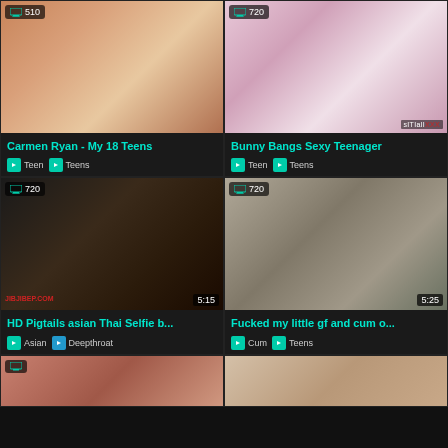[Figure (screenshot): Video thumbnail grid showing adult content video listings with thumbnails, titles, tags, and duration badges]
Carmen Ryan - My 18 Teens | Teen | Teens
Bunny Bangs Sexy Teenager | Teen | Teens
HD Pigtails asian Thai Selfie b... | Asian | Deepthroat
Fucked my little gf and cum o... | Cum | Teens